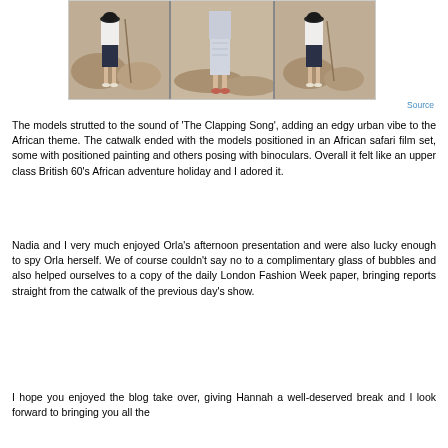[Figure (photo): A collage of fashion models on a catwalk set designed to look like an African safari scene, showing models in various outfits including white tops with dark skirts and printed trousers.]
Source
The models strutted to the sound of 'The Clapping Song', adding an edgy urban vibe to the African theme. The catwalk ended with the models positioned in an African safari film set, some with positioned painting and others posing with binoculars. Overall it felt like an upper class British 60's African adventure holiday and I adored it.
Nadia and I very much enjoyed Orla's afternoon presentation and were also lucky enough to spy Orla herself. We of course couldn't say no to a complimentary glass of bubbles and also helped ourselves to a copy of the daily London Fashion Week paper, bringing reports straight from the catwalk of the previous day's show.
I hope you enjoyed the blog take over, giving Hannah a well-deserved break and I look forward to bringing you all the